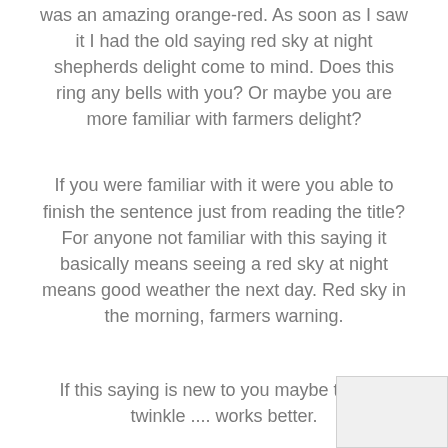was an amazing orange-red. As soon as I saw it I had the old saying red sky at night shepherds delight come to mind. Does this ring any bells with you? Or maybe you are more familiar with farmers delight?
If you were familiar with it were you able to finish the sentence just from reading the title? For anyone not familiar with this saying it basically means seeing a red sky at night means good weather the next day. Red sky in the morning, farmers warning.
If this saying is new to you maybe twinkle twinkle .... works better.
Why am I reciting nursery rhymes and old sayings? These are